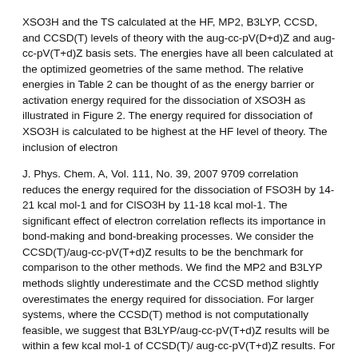XSO3H and the TS calculated at the HF, MP2, B3LYP, CCSD, and CCSD(T) levels of theory with the aug-cc-pV(D+d)Z and aug-cc-pV(T+d)Z basis sets. The energies have all been calculated at the optimized geometries of the same method. The relative energies in Table 2 can be thought of as the energy barrier or activation energy required for the dissociation of XSO3H as illustrated in Figure 2. The energy required for dissociation of XSO3H is calculated to be highest at the HF level of theory. The inclusion of electron
J. Phys. Chem. A, Vol. 111, No. 39, 2007 9709 correlation reduces the energy required for the dissociation of FSO3H by 14-21 kcal mol-1 and for ClSO3H by 11-18 kcal mol-1. The significant effect of electron correlation reflects its importance in bond-making and bond-breaking processes. We consider the CCSD(T)/aug-cc-pV(T+d)Z results to be the benchmark for comparison to the other methods. We find the MP2 and B3LYP methods slightly underestimate and the CCSD method slightly overestimates the energy required for dissociation. For larger systems, where the CCSD(T) method is not computationally feasible, we suggest that B3LYP/aug-cc-pV(T+d)Z results will be within a few kcal mol-1 of CCSD(T)/ aug-cc-pV(T+d)Z results. For FSO3H, the CCSD(T) energy barier increases by 4 kcal mol-1 as the basis set increases from aug-cc-pV(D+d)Z to aug-cc-pV(T+d)Z. For ClSO3H, the